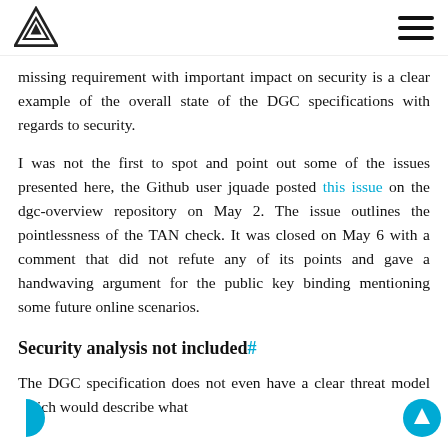[Logo] [Hamburger menu]
missing requirement with important impact on security is a clear example of the overall state of the DGC specifications with regards to security.
I was not the first to spot and point out some of the issues presented here, the Github user jquade posted this issue on the dgc-overview repository on May 2. The issue outlines the pointlessness of the TAN check. It was closed on May 6 with a comment that did not refute any of its points and gave a handwaving argument for the public key binding mentioning some future online scenarios.
Security analysis not included#
The DGC specification does not even have a clear threat model which would describe what